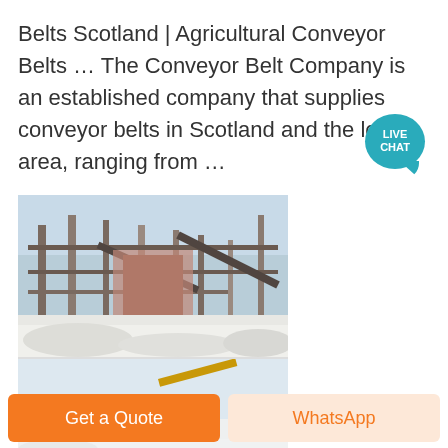Belts Scotland | Agricultural Conveyor Belts … The Conveyor Belt Company is an established company that supplies conveyor belts in Scotland and the local area, ranging from …
[Figure (photo): Industrial conveyor belt facility with scaffolding and machinery, covered in white dust/material. Below is another photo showing an outdoor conveyor belt or machinery in snowy/icy conditions.]
Get a Quote
WhatsApp